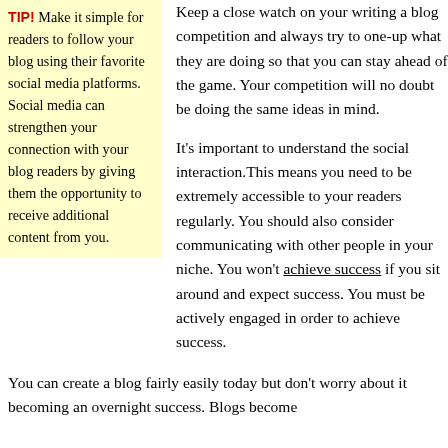TIP! Make it simple for readers to follow your blog using their favorite social media platforms. Social media can strengthen your connection with your blog readers by giving them the opportunity to receive additional content from you.
Keep a close watch on your writing a blog competition and always try to one-up what they are doing so that you can stay ahead of the game. Your competition will no doubt be doing the same ideas in mind.
It's important to understand the social interaction.This means you need to be extremely accessible to your readers regularly. You should also consider communicating with other people in your niche. You won't achieve success if you sit around and expect success. You must be actively engaged in order to achieve success.
You can create a blog fairly easily today but don't worry about it becoming an overnight success. Blogs become